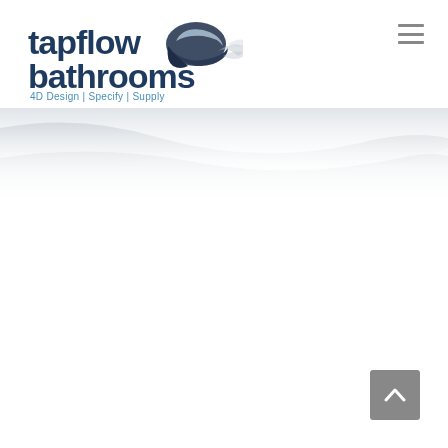[Figure (logo): Tapflow Bathrooms logo with helmet graphic, bold navy text reading 'tapflow bathrooms' and tagline '4D Design | Specify | Supply' in blue]
[Figure (illustration): Decorative wave/ribbon banner in light grey tones spanning the full width below the header]
[Figure (other): Grey back-to-top button with upward chevron arrow, positioned bottom-right]